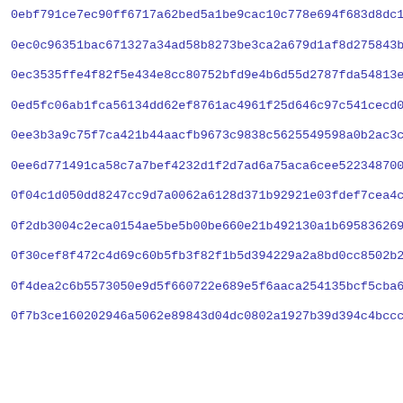0ebf791ce7ec90ff6717a62bed5a1be9cac10c778e694f683d8dc1b2eb0d1
0ec0c96351bac671327a34ad58b8273be3ca2a679d1af8d275843b87f5343
0ec3535ffe4f82f5e434e8cc80752bfd9e4b6d55d2787fda54813e7ef1bd2
0ed5fc06ab1fca56134dd62ef8761ac4961f25d646c97c541cecd0d7eaad0
0ee3b3a9c75f7ca421b44aacfb9673c9838c5625549598a0b2ac3c9f7c159
0ee6d771491ca58c7a7bef4232d1f2d7ad6a75aca6cee522348700b746d66
0f04c1d050dd8247cc9d7a0062a6128d371b92921e03fdef7cea4cd86b20a
0f2db3004c2eca0154ae5be5b00be660e21b492130a1b69583626966e65ced
0f30cef8f472c4d69c60b5fb3f82f1b5d394229a2a8bd0cc8502b266a0064
0f4dea2c6b5573050e9d5f660722e689e5f6aaca254135bcf5cba6d0aeeb8
0f7b3ce160202946a5062e89843d04dc0802a1927b39d394c4bccc018e807